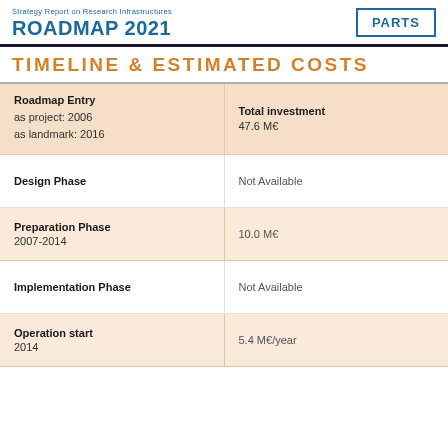Strategy Report on Research Infrastructures ROADMAP 2021 | PARTS
TIMELINE & ESTIMATED COSTS
| Category | Value |
| --- | --- |
| Roadmap Entry
as project: 2006
as landmark: 2016 | Total investment
47.6 M€ |
| Design Phase | Not Available |
| Preparation Phase
2007-2014 | 10.0 M€ |
| Implementation Phase | Not Available |
| Operation start
2014 | 5.4 M€/year |